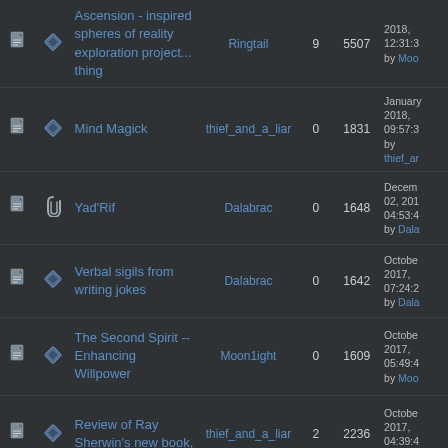|  |  | Title | Author | Replies | Views | Last Post |
| --- | --- | --- | --- | --- | --- | --- |
| [doc] | [diamond] | Ascension - inspired spheres of reality exploration project... thing | Ringtail | 9 | 5507 | 2018, 12:31:3 by Moo |
| [doc] | [diamond] | Mind Magick | thief_and_a_liar | 0 | 1831 | January 2018, 09:57:3 by thief_ar |
| [doc] | [paperclip] | Yad'Rif | Dalabrac | 0 | 1648 | Decem 02, 201 04:53:4 by Dala |
| [doc] | [diamond] | Verbal sigils from writing jokes | Dalabrac | 0 | 1642 | Octobe 2017, 07:24:2 by Dala |
| [doc] | [diamond] | The Second Spirit -- Enhancing Willpower | Moon1ight | 0 | 1609 | Octobe 2017, 05:49:4 by Moo |
| [doc] | [diamond] | Review of Ray Sherwin's new book, | thief_and_a_liar | 2 | 2236 | Octobe 2017, 04:39:4 by |